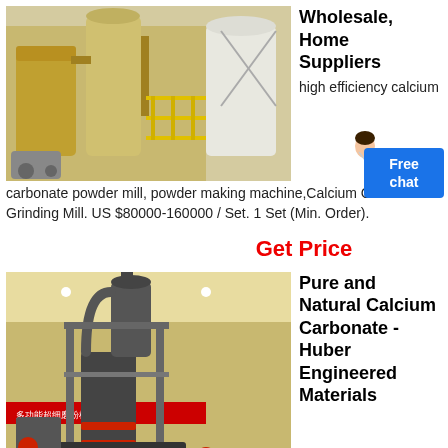[Figure (photo): Industrial calcium carbonate powder mill machinery with metal tanks, pipes, and yellow railings in a factory setting]
Wholesale, Home Suppliers
high efficiency calcium carbonate powder mill, powder making machine,Calcium Carbonate Grinding Mill. US $80000-160000 / Set. 1 Set (Min. Order).
[Figure (illustration): Customer service avatar — woman in white jacket with speech bubble]
[Figure (other): Free chat button — blue rounded rectangle with white text 'Free chat']
Get Price
[Figure (photo): Industrial grinding mill machine (dark gray) with cyclone dust collector inside a large industrial shed with red banner]
Pure and Natural Calcium Carbonate - Huber Engineered Materials